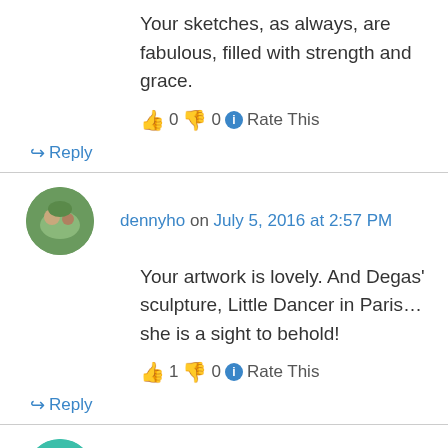Your sketches, as always, are fabulous, filled with strength and grace.
👍 0 👎 0 ℹ Rate This
↪ Reply
dennyho on July 5, 2016 at 2:57 PM
Your artwork is lovely. And Degas' sculpture, Little Dancer in Paris…she is a sight to behold!
👍 1 👎 0 ℹ Rate This
↪ Reply
christianegaudette on July 6, 2016 at 5:29 AM
Traduction disponible: "Les filles peintes". J'ai